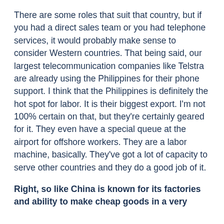There are some roles that suit that country, but if you had a direct sales team or you had telephone services, it would probably make sense to consider Western countries. That being said, our largest telecommunication companies like Telstra are already using the Philippines for their phone support. I think that the Philippines is definitely the hot spot for labor. It is their biggest export. I'm not 100% certain on that, but they're certainly geared for it. They even have a special queue at the airport for offshore workers. They are a labor machine, basically. They've got a lot of capacity to serve other countries and they do a good job of it.
Right, so like China is known for its factories and ability to make cheap goods in a very